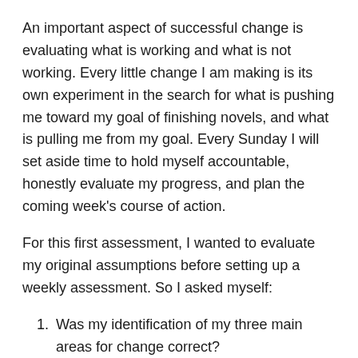An important aspect of successful change is evaluating what is working and what is not working. Every little change I am making is its own experiment in the search for what is pushing me toward my goal of finishing novels, and what is pulling me from my goal. Every Sunday I will set aside time to hold myself accountable, honestly evaluate my progress, and plan the coming week's course of action.
For this first assessment, I wanted to evaluate my original assumptions before setting up a weekly assessment. So I asked myself:
Was my identification of my three main areas for change correct?
Answer: They appear to be. Focusing my priorities